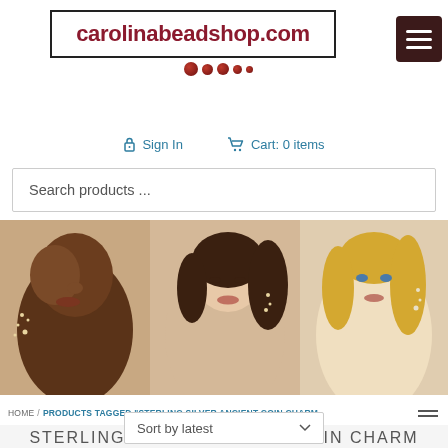[Figure (logo): carolinabeadshop.com logo with decorative beads below text in a bordered box]
Sign In    Cart: 0 items
Search products ...
[Figure (photo): Three women wearing ear cuff jewelry, shown in profile view side by side]
HOME / PRODUCTS TAGGED "STERLING SILVER ANCIENT COIN CHARM"
STERLING SILVER ANCIENT COIN CHARM
Sort by latest